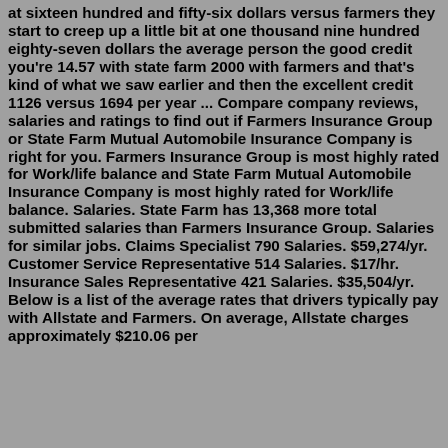at sixteen hundred and fifty-six dollars versus farmers they start to creep up a little bit at one thousand nine hundred eighty-seven dollars the average person the good credit you're 14.57 with state farm 2000 with farmers and that's kind of what we saw earlier and then the excellent credit 1126 versus 1694 per year ... Compare company reviews, salaries and ratings to find out if Farmers Insurance Group or State Farm Mutual Automobile Insurance Company is right for you. Farmers Insurance Group is most highly rated for Work/life balance and State Farm Mutual Automobile Insurance Company is most highly rated for Work/life balance. Salaries. State Farm has 13,368 more total submitted salaries than Farmers Insurance Group. Salaries for similar jobs. Claims Specialist 790 Salaries. $59,274/yr. Customer Service Representative 514 Salaries. $17/hr. Insurance Sales Representative 421 Salaries. $35,504/yr. Below is a list of the average rates that drivers typically pay with Allstate and Farmers. On average, Allstate charges approximately $210.06 per